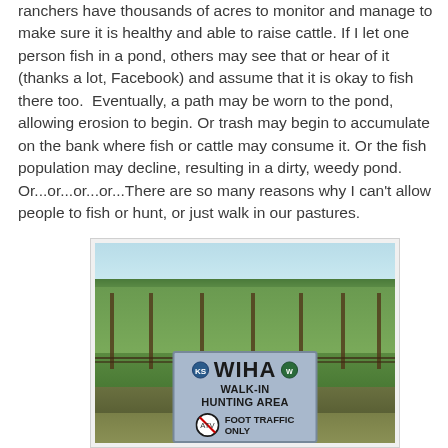ranchers have thousands of acres to monitor and manage to make sure it is healthy and able to raise cattle. If I let one person fish in a pond, others may see that or hear of it (thanks a lot, Facebook) and assume that it is okay to fish there too.  Eventually, a path may be worn to the pond, allowing erosion to begin. Or trash may begin to accumulate on the bank where fish or cattle may consume it. Or the fish population may decline, resulting in a dirty, weedy pond. Or...or...or...or...There are so many reasons why I can't allow people to fish or hunt, or just walk in our pastures.
[Figure (photo): Outdoor photo of a green pasture/field with a fence and a blue WIHA Walk-In Hunting Area sign visible. The sign shows WIHA WALK-IN HUNTING AREA with FOOT TRAFFIC ONLY text and icons.]